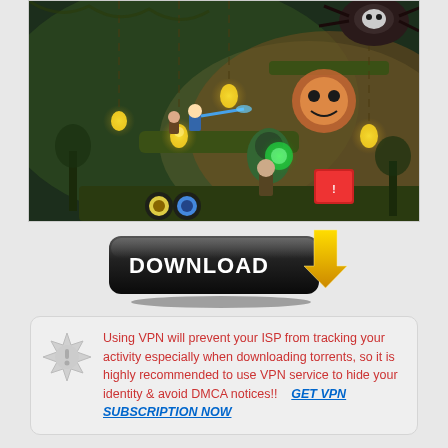[Figure (screenshot): Screenshot of a 2D action/platformer video game showing characters fighting enemies in a dark jungle-themed level with glowing lights and boss enemies]
[Figure (other): Download button: dark rounded rectangle with bold white text 'DOWNLOAD' and a yellow downward-pointing arrow icon]
Using VPN will prevent your ISP from tracking your activity especially when downloading torrents, so it is highly recommended to use VPN service to hide your identity & avoid DMCA notices!!   GET VPN SUBSCRIPTION NOW